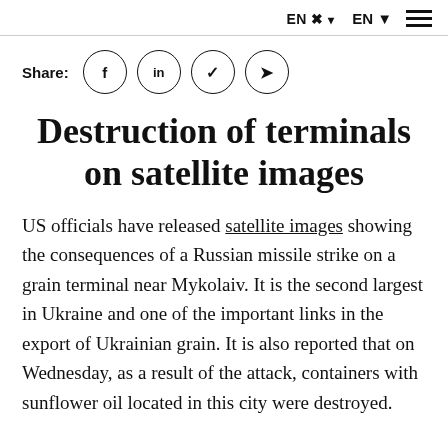EN ▾  ☰
Share: [facebook] [in] [twitter] [telegram]
Destruction of terminals on satellite images
US officials have released satellite images showing the consequences of a Russian missile strike on a grain terminal near Mykolaiv. It is the second largest in Ukraine and one of the important links in the export of Ukrainian grain. It is also reported that on Wednesday, as a result of the attack, containers with sunflower oil located in this city were destroyed.